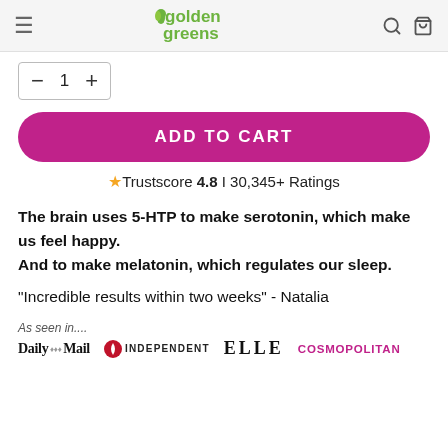golden greens
– 1 +
ADD TO CART
★ Trustscore 4.8 | 30,345+ Ratings
The brain uses 5-HTP to make serotonin, which make us feel happy.
And to make melatonin, which regulates our sleep.
"Incredible results within two weeks" - Natalia
As seen in.... Daily Mail  INDEPENDENT  ELLE  COSMOPOLITAN